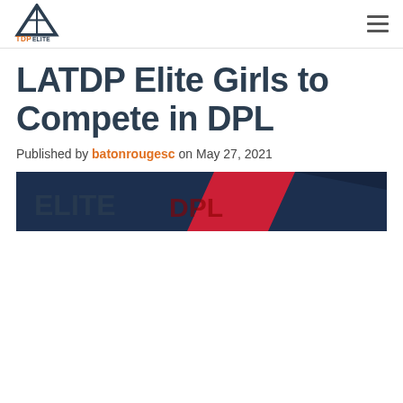TDP Elite logo and navigation
LATDP Elite Girls to Compete in DPL
Published by batonrougesc on May 27, 2021
[Figure (photo): DPL banner image showing dark navy and red diagonal design with partially visible text]